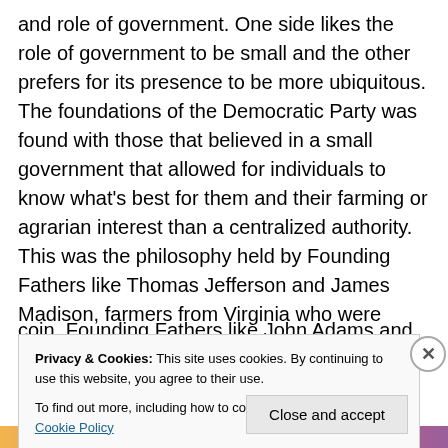and role of government. One side likes the role of government to be small and the other prefers for its presence to be more ubiquitous. The foundations of the Democratic Party was found with those that believed in a small government that allowed for individuals to know what's best for them and their farming or agrarian interest than a centralized authority. This was the philosophy held by Founding Fathers like Thomas Jefferson and James Madison, farmers from Virginia who were known as “Democratic-Republicans” then. On the other side of the coin, Founding Fathers like John Adams and Alexander
Privacy & Cookies: This site uses cookies. By continuing to use this website, you agree to their use.
To find out more, including how to control cookies, see here: Cookie Policy
Close and accept